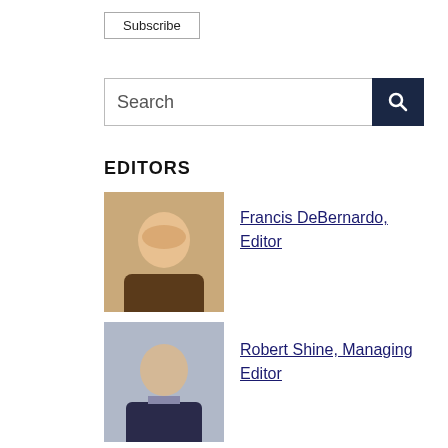Subscribe
Search
EDITORS
[Figure (photo): Photo of Francis DeBernardo, Editor]
Francis DeBernardo, Editor
[Figure (photo): Photo of Robert Shine, Managing Editor]
Robert Shine, Managing Editor
CONTRIBUTORS
[Figure (photo): Photo of Allison Connelly]
Allison Connelly